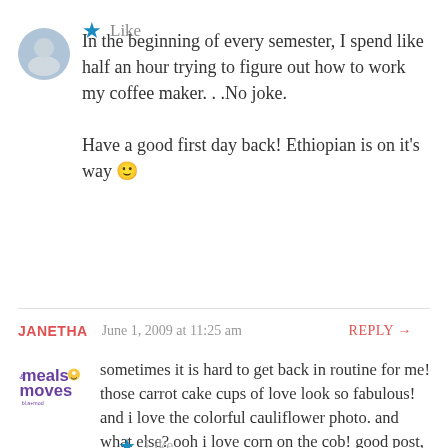In the beginning of every semester, I spend like half an hour trying to figure out how to work my coffee maker. . .No joke.

Have a good first day back! Ethiopian is on it's way 🙂
★ Like
JANETHA   June 1, 2009 at 11:25 am   REPLY →
sometimes it is hard to get back in routine for me! those carrot cake cups of love look so fabulous! and i love the colorful cauliflower photo. and what else? ooh i love corn on the cob! good post, love it all!
★ Like